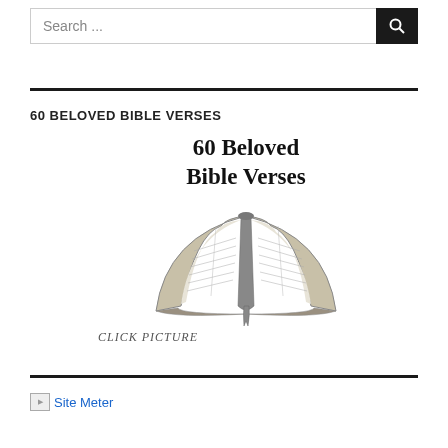Search ...
60 BELOVED BIBLE VERSES
[Figure (illustration): Book cover image showing '60 Beloved Bible Verses' title text above a pencil sketch of an open Bible with a bookmark ribbon, with 'CLICK PICTURE' caption below]
Site Meter